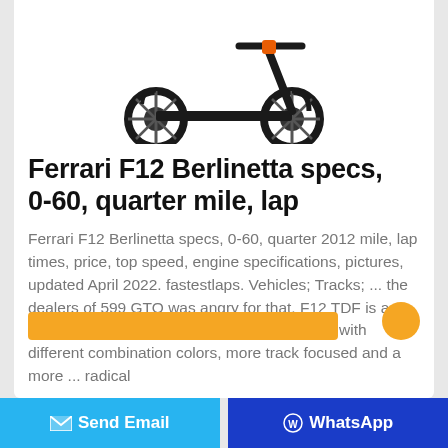[Figure (photo): A black kick scooter with two large wheels, orange accents on the handlebars, photographed on a white background]
Ferrari F12 Berlinetta specs, 0-60, quarter mile, lap
Ferrari F12 Berlinetta specs, 0-60, quarter 2012 mile, lap times, price, top speed, engine specifications, pictures, updated April 2022. fastestlaps. Vehicles; Tracks; ... the dealers of 599 GTO was angry for that. F12 TDF is a special car with only 600 models in the world with different combination colors, more track focused and a more ... radical
[Figure (other): Orange button bar at bottom of card]
Send Email   WhatsApp